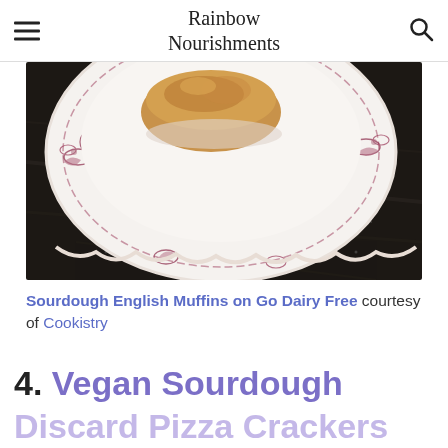Rainbow Nourishments
[Figure (photo): A golden baked English muffin on a white decorative plate with red/purple floral pattern, set on a dark slate surface]
Sourdough English Muffins on Go Dairy Free courtesy of Cookistry
4. Vegan Sourdough Discard Pizza Crackers